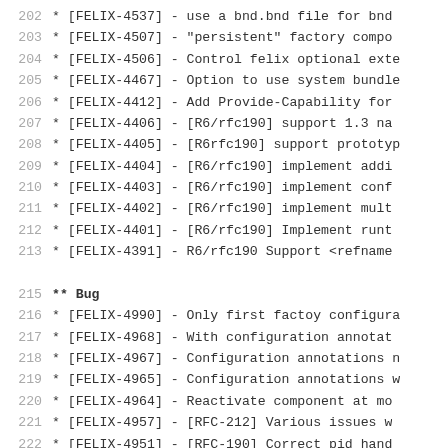202     * [FELIX-4537] - use a bnd.bnd file for bnd
203     * [FELIX-4507] - "persistent" factory compo
204     * [FELIX-4506] - Control felix optional exte
205     * [FELIX-4467] - Option to use system bundle
206     * [FELIX-4412] - Add Provide-Capability for
207     * [FELIX-4406] - [R6/rfc190] support 1.3 na
208     * [FELIX-4405] - [R6rfc190] support prototyp
209     * [FELIX-4404] - [R6/rfc190] implement addi
210     * [FELIX-4403] - [R6/rfc190] implement conf
211     * [FELIX-4402] - [R6/rfc190] implement mult
212     * [FELIX-4401] - [R6/rfc190] Implement runt
213     * [FELIX-4391] - R6/rfc190 Support <refname
215  ** Bug
216     * [FELIX-4990] - Only first factoy configura
217     * [FELIX-4968] - With configuration annotat
218     * [FELIX-4967] - Configuration annotations n
219     * [FELIX-4965] - Configuration annotations w
220     * [FELIX-4964] - Reactivate component at mo
221     * [FELIX-4957] - [RFC-212] Various issues w
222     * [FELIX-4951] - [RFC-190] Correct pid hand